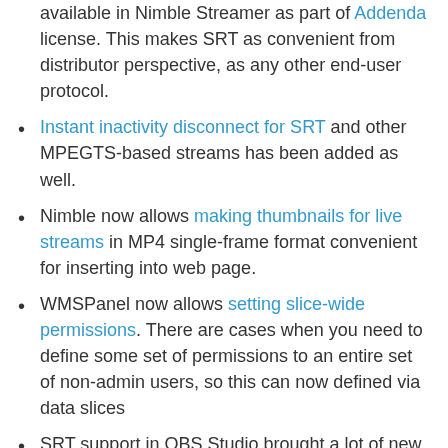available in Nimble Streamer as part of Addenda license. This makes SRT as convenient from distributor perspective, as any other end-user protocol.
Instant inactivity disconnect for SRT and other MPEGTS-based streams has been added as well.
Nimble now allows making thumbnails for live streams in MP4 single-frame format convenient for inserting into web page.
WMSPanel now allows setting slice-wide permissions. There are cases when you need to define some set of permissions to an entire set of non-admin users, so this can now defined via data slices
SRT support in OBS Studio brought a lot of new users so we released an article explaining how to set up SRT streaming from Larix Broadcaster to OBS and from OBS to Nimble Streamer.